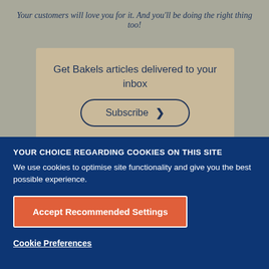Your customers will love you for it. And you'll be doing the right thing too!
Get Bakels articles delivered to your inbox
Subscribe ›
YOUR CHOICE REGARDING COOKIES ON THIS SITE
We use cookies to optimise site functionality and give you the best possible experience.
Accept Recommended Settings
Cookie Preferences